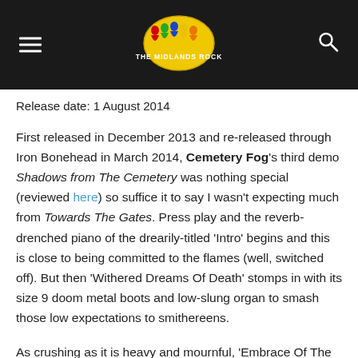THE MIDLANDS ROCK (logo header)
Release date: 1 August 2014
First released in December 2013 and re-released through Iron Bonehead in March 2014, Cemetery Fog's third demo Shadows from The Cemetery was nothing special (reviewed here) so suffice it to say I wasn't expecting much from Towards The Gates. Press play and the reverb-drenched piano of the drearily-titled 'Intro' begins and this is close to being committed to the flames (well, switched off). But then 'Withered Dreams Of Death' stomps in with its size 9 doom metal boots and low-slung organ to smash those low expectations to smithereens.
As crushing as it is heavy and mournful, 'Embrace Of The Darkness' maintains the mini LP's momentum, the track